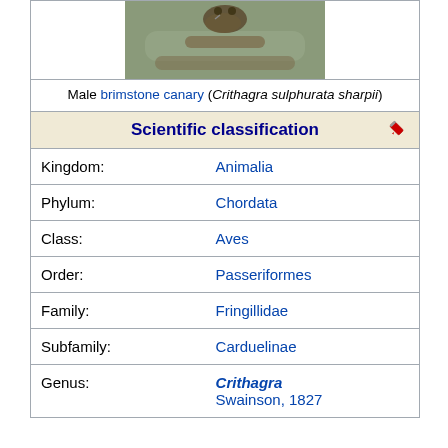[Figure (photo): Male brimstone canary (Crithagra sulphurata sharpii) perched on a branch]
Male brimstone canary (Crithagra sulphurata sharpii)
Scientific classification
| Rank | Value |
| --- | --- |
| Kingdom: | Animalia |
| Phylum: | Chordata |
| Class: | Aves |
| Order: | Passeriformes |
| Family: | Fringillidae |
| Subfamily: | Carduelinae |
| Genus: | Crithagra
Swainson, 1827 |